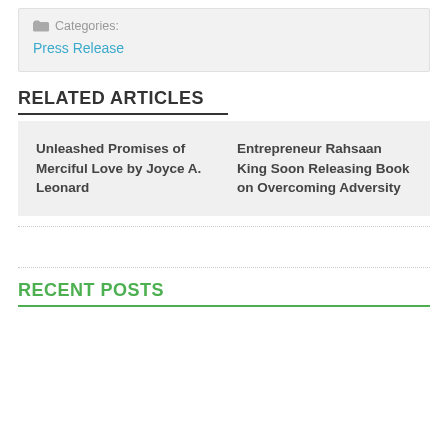Categories: Press Release
RELATED ARTICLES
Unleashed Promises of Merciful Love by Joyce A. Leonard
Entrepreneur Rahsaan King Soon Releasing Book on Overcoming Adversity
RECENT POSTS